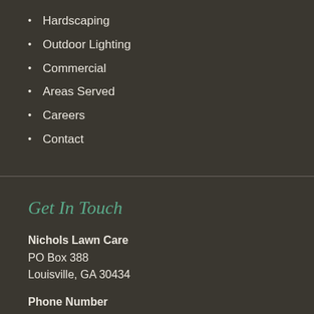Hardscaping
Outdoor Lighting
Commercial
Areas Served
Careers
Contact
Get In Touch
Nichols Lawn Care
PO Box 388
Louisville, GA 30434
Phone Number
(478) 494-8123
Email Address
sales@nicholslawncare.com